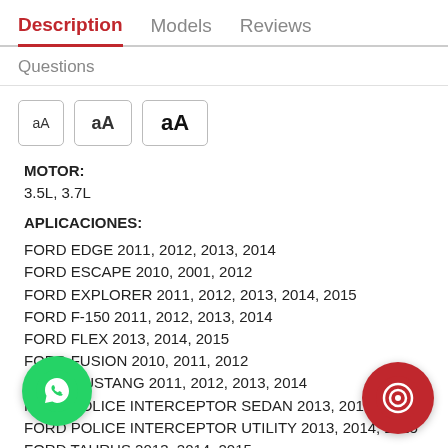Description | Models | Reviews
Questions
[Figure (other): Font size selector buttons with three sizes of 'aA' text]
MOTOR:
3.5L, 3.7L
APLICACIONES:
FORD EDGE 2011, 2012, 2013, 2014
FORD ESCAPE 2010, 2001, 2012
FORD EXPLORER 2011, 2012, 2013, 2014, 2015
FORD F-150 2011, 2012, 2013, 2014
FORD FLEX 2013, 2014, 2015
FORD FUSION 2010, 2011, 2012
FORD MUSTANG 2011, 2012, 2013, 2014
FORD POLICE INTERCEPTOR SEDAN 2013, 2014, 2015
FORD POLICE INTERCEPTOR UTILITY 2013, 2014, 2015
FORD TAURUS 2013, 2014, 2015